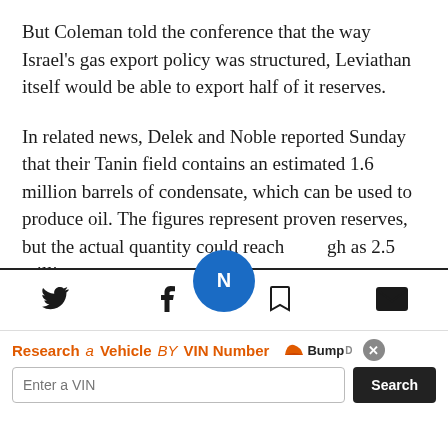But Coleman told the conference that the way Israel's gas export policy was structured, Leviathan itself would be able to export half of it reserves.
In related news, Delek and Noble reported Sunday that their Tanin field contains an estimated 1.6 million barrels of condensate, which can be used to produce oil. The figures represent proven reserves, but the actual quantity could reach as high as 2.5 million